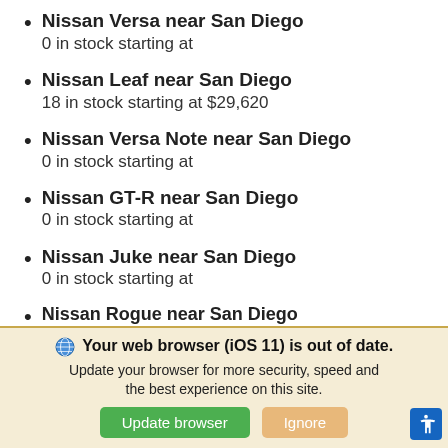Nissan Versa near San Diego
0 in stock starting at
Nissan Leaf near San Diego
18 in stock starting at $29,620
Nissan Versa Note near San Diego
0 in stock starting at
Nissan GT-R near San Diego
0 in stock starting at
Nissan Juke near San Diego
0 in stock starting at
Nissan Rogue near San Diego
Your web browser (iOS 11) is out of date. Update your browser for more security, speed and the best experience on this site.